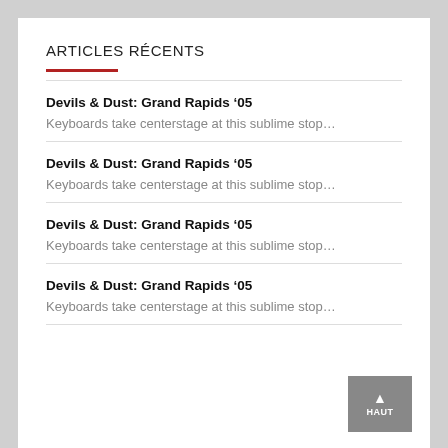ARTICLES RÉCENTS
Devils & Dust: Grand Rapids '05
Keyboards take centerstage at this sublime stop…
Devils & Dust: Grand Rapids '05
Keyboards take centerstage at this sublime stop…
Devils & Dust: Grand Rapids '05
Keyboards take centerstage at this sublime stop…
Devils & Dust: Grand Rapids '05
Keyboards take centerstage at this sublime stop…